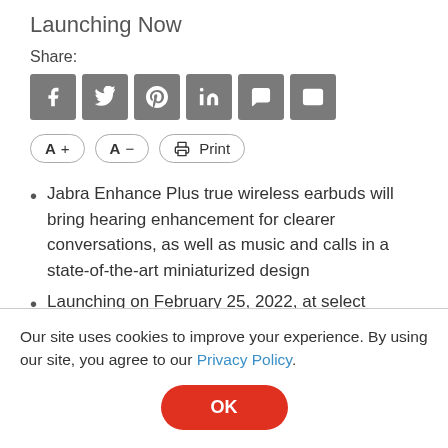Launching Now
Share:
[Figure (other): Social share icon buttons: Facebook, Twitter, Pinterest, LinkedIn, SMS, Email]
[Figure (other): Text controls: A+ (increase font), A- (decrease font), Print button]
Jabra Enhance Plus true wireless earbuds will bring hearing enhancement for clearer conversations, as well as music and calls in a state-of-the-art miniaturized design
Launching on February 25, 2022, at select Hearing Care Professionals across the US at $799¹
Our site uses cookies to improve your experience. By using our site, you agree to our Privacy Policy.